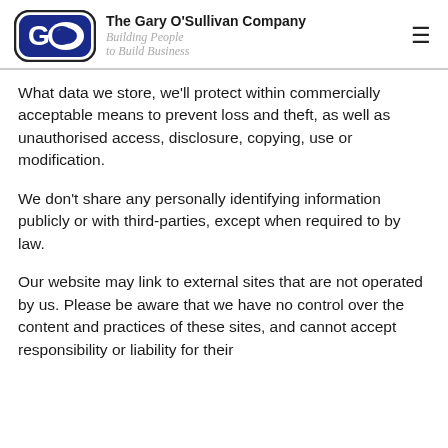The Gary O'Sullivan Company — Building People to Build Business
What data we store, we'll protect within commercially acceptable means to prevent loss and theft, as well as unauthorised access, disclosure, copying, use or modification.
We don't share any personally identifying information publicly or with third-parties, except when required to by law.
Our website may link to external sites that are not operated by us. Please be aware that we have no control over the content and practices of these sites, and cannot accept responsibility or liability for their